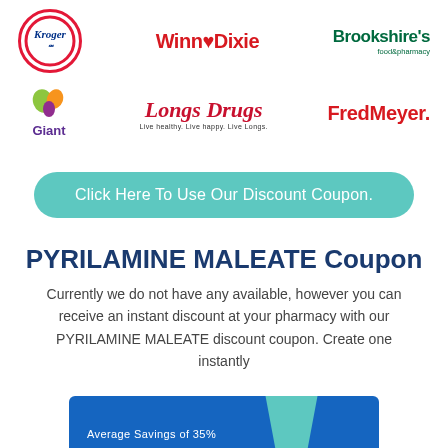[Figure (logo): Row of pharmacy/grocery store logos: Kroger, Winn-Dixie, Brookshires food & pharmacy]
[Figure (logo): Row of pharmacy/grocery store logos: Giant, Longs Drugs (Live healthy. Live happy. Live Longs.), FredMeyer]
Click Here To Use Our Discount Coupon.
PYRILAMINE MALEATE Coupon
Currently we do not have any available, however you can receive an instant discount at your pharmacy with our PYRILAMINE MALEATE discount coupon. Create one instantly
[Figure (illustration): Partial view of a blue coupon card with teal tab at top]